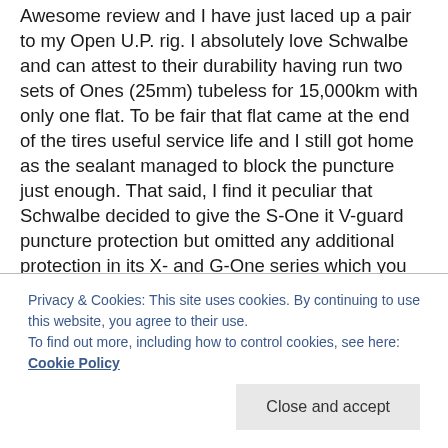Awesome review and I have just laced up a pair to my Open U.P. rig. I absolutely love Schwalbe and can attest to their durability having run two sets of Ones (25mm) tubeless for 15,000km with only one flat. To be fair that flat came at the end of the tires useful service life and I still got home as the sealant managed to block the puncture just enough. That said, I find it peculiar that Schwalbe decided to give the S-One it V-guard puncture protection but omitted any additional protection in its X- and G-One series which you could argue are being ridden more aggressively in worse conditions. Ted King and Amanda both ran the G-One's in their Dirty Kanza 200 winning rides, but from what I heard the tires were ripped
Privacy & Cookies: This site uses cookies. By continuing to use this website, you agree to their use.
To find out more, including how to control cookies, see here: Cookie Policy